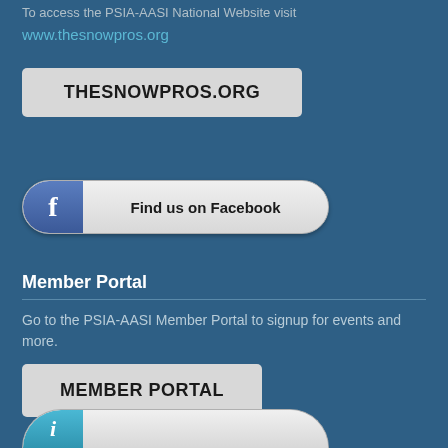To access the PSIA-AASI National Website visit
www.thesnowpros.org
[Figure (screenshot): Button with text THESNOWPROS.ORG]
[Figure (screenshot): Facebook Find us on Facebook button with blue Facebook icon on left]
Member Portal
Go to the PSIA-AASI Member Portal to signup for events and more.
[Figure (screenshot): Button with text MEMBER PORTAL]
[Figure (screenshot): Partially visible button at bottom with teal/blue icon, partially cropped]